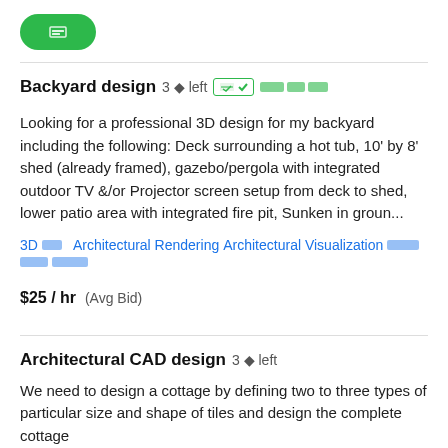[Figure (other): Green pill-shaped button with icon]
Backyard design  3 🔢 left
Looking for a professional 3D design for my backyard including the following: Deck surrounding a hot tub, 10' by 8' shed (already framed), gazebo/pergola with integrated outdoor TV &/or Projector screen setup from deck to shed, lower patio area with integrated fire pit, Sunken in groun...
3D 🔢   Architectural Rendering   Architectural Visualization   🔢🔢🔢🔢   🔢🔢🔢🔢   🔢🔢🔢🔢🔢
$25 / hr  (Avg Bid)
Architectural CAD design  3 🔢 left
We need to design a cottage by defining two to three types of particular size and shape of tiles and design the complete cottage